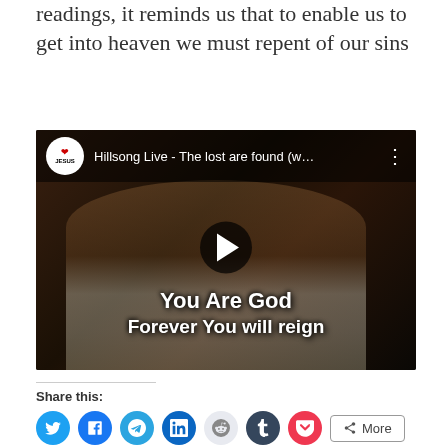readings, it reminds us that to enable us to get into heaven we must repent of our sins
[Figure (screenshot): YouTube-style video embed showing a young boy looking upward with arms raised, with text overlay 'You Are God Forever You will reign'. Video title bar shows 'Hillsong Live - The lost are found (w...' with an 'I Love Jesus' channel logo.]
Share this:
[Figure (infographic): Social share buttons row: Twitter (teal), Facebook (blue), Telegram (teal), LinkedIn (blue), Reddit (light blue), Tumblr (dark blue), Pocket (red), and a More button with share icon.]